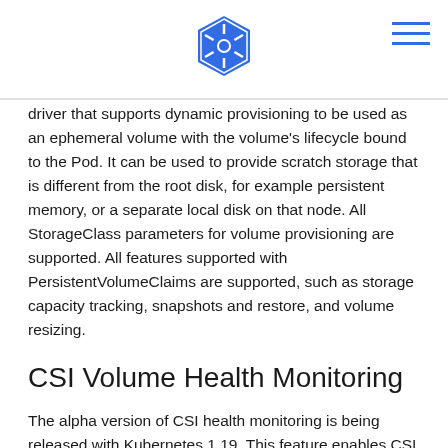Kubernetes logo and navigation menu
driver that supports dynamic provisioning to be used as an ephemeral volume with the volume’s lifecycle bound to the Pod. It can be used to provide scratch storage that is different from the root disk, for example persistent memory, or a separate local disk on that node. All StorageClass parameters for volume provisioning are supported. All features supported with PersistentVolumeClaims are supported, such as storage capacity tracking, snapshots and restore, and volume resizing.
CSI Volume Health Monitoring
The alpha version of CSI health monitoring is being released with Kubernetes 1.19. This feature enables CSI Drivers to share abnormal volume